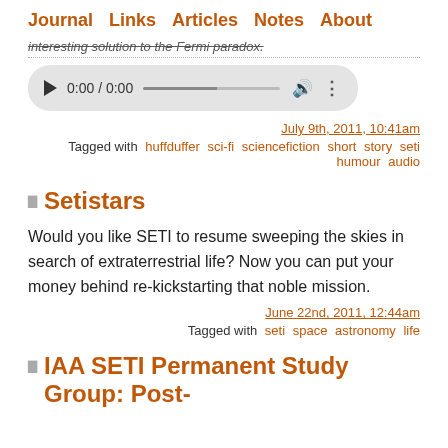Journal  Links  Articles  Notes  About
interesting solution to the Fermi paradox.
[Figure (other): Audio player widget showing 0:00 / 0:00 with play button, progress bar, volume and options icons]
July 9th, 2011, 10:41am
Tagged with huffduffer sci-fi sciencefiction short story seti humour audio
Setistars
Would you like SETI to resume sweeping the skies in search of extraterrestrial life? Now you can put your money behind re-kickstarting that noble mission.
June 22nd, 2011, 12:44am
Tagged with seti space astronomy life
IAA SETI Permanent Study Group: Post-